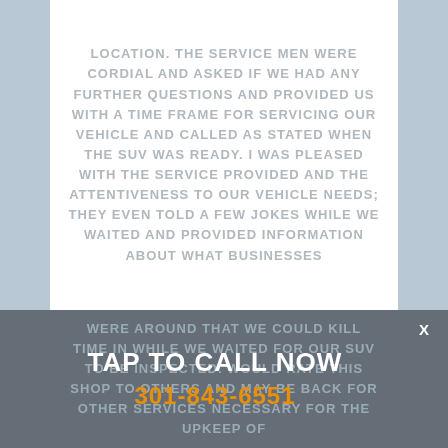LOCATION. THE SERVICE MEN WERE CORDIAL AND ASKED IF WE HAD ANY FURTHER QUESTIONS AND PROVIDED US WITH A TIME FRAME FOR SERVICING OUR VEHICLE AND CALLED AS STATED WHEN THE SUV WAS READY. I WAS PLEASED WITH THE SERVICE PROVIDED AND THE ATTENTIVENESS TO OUR VEHICLE NEEDS; THEY EVEN TOLD A FEW JOKES WHILE WE WAITED AND PROVIDED INFORMATION ABOUT WHAT BUSINESSES
WERE AROUND THAT WE COULD KILL TIME IN WHILE WE WAITED FOR OUR SUV TO BE INSPECTED. WOULD RATE THIS SHOP TO OTHERS AND MAY BE BACK FOR OTHER SERVICES NECESSARY FOR THE UPKEEP OF
TAP TO CALL NOW
301-843-6551
X